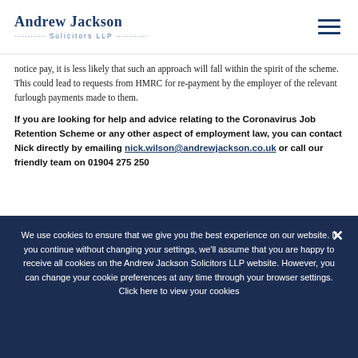Andrew Jackson Solicitors LLP
notice pay, it is less likely that such an approach will fall within the spirit of the scheme. This could lead to requests from HMRC for re-payment by the employer of the relevant furlough payments made to them.
If you are looking for help and advice relating to the Coronavirus Job Retention Scheme or any other aspect of employment law, you can contact Nick directly by emailing nick.wilson@andrewjackson.co.uk or call our friendly team on 01904 275 250
We use cookies to ensure that we give you the best experience on our website. If you continue without changing your settings, we'll assume that you are happy to receive all cookies on the Andrew Jackson Solicitors LLP website. However, you can change your cookie preferences at any time through your browser settings. Click here to view your cookies preferences.